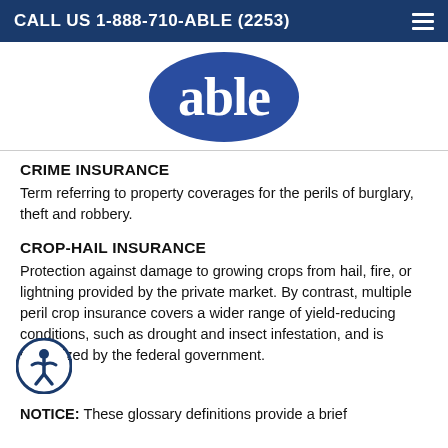CALL US 1-888-710-ABLE (2253)
[Figure (logo): Able Insurance logo — white lowercase 'able' text inside a dark blue oval/ellipse shape]
CRIME INSURANCE
Term referring to property coverages for the perils of burglary, theft and robbery.
CROP-HAIL INSURANCE
Protection against damage to growing crops from hail, fire, or lightning provided by the private market. By contrast, multiple peril crop insurance covers a wider range of yield-reducing conditions, such as drought and insect infestation, and is subsidized by the federal government.
NOTICE: These glossary definitions provide a brief